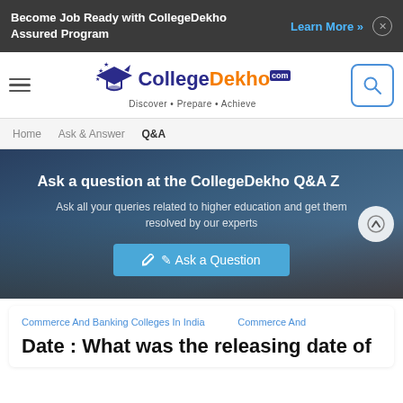Become Job Ready with CollegeDekho Assured Program  Learn More »  ×
[Figure (logo): CollegeDekho logo with graduation cap, text 'CollegeDekho.com', tagline 'Discover · Prepare · Achieve', hamburger menu icon, and search icon]
Home  Ask & Answer  Q&A
[Figure (photo): Hero section with dark overlay showing crowd of students. Text: 'Ask a question at the CollegeDekho Q&A Zone', 'Ask all your queries related to higher education and get them resolved by our experts'. Button: 'Ask a Question'. Scroll-up arrow button on right.]
Commerce And Banking Colleges In India   Commerce And
Date : What was the releasing date of